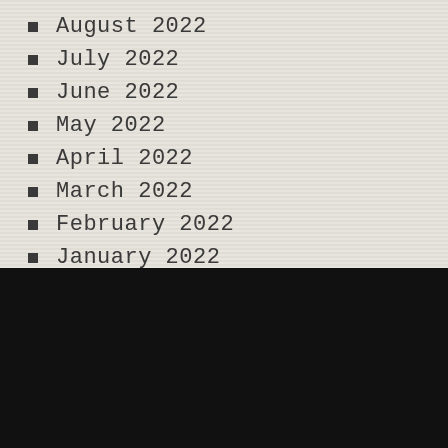August 2022
July 2022
June 2022
May 2022
April 2022
March 2022
February 2022
January 2022
We use cookies on our website to give you the most relevant experience by remembering your preferences and repeat visits. By clicking “Accept”, you consent to the use of ALL the cookies.
Do not sell my personal information.